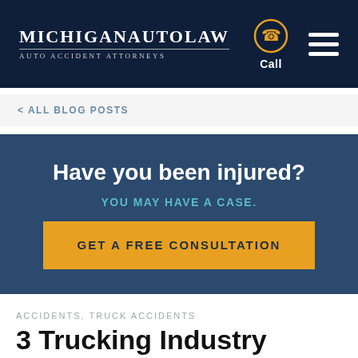MICHIGANAUTOLAW AUTO ACCIDENT ATTORNEYS
< ALL BLOG POSTS
Have you been injured?
YOU MAY HAVE A CASE.
GET A FREE CONSULTATION
ACCIDENTS, TRUCK ACCIDENTS
3 Trucking Industry